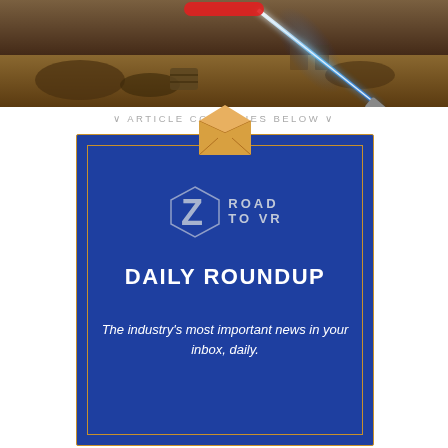[Figure (photo): Screenshot of a Star Wars VR game showing a desert landscape with a blue lightsaber glowing in the foreground, rocky terrain and barrels in the background, and a red button/UI element at the top center.]
∨ ARTICLE CONTINUES BELOW ∨
[Figure (infographic): Road to VR Daily Roundup newsletter advertisement. Blue background with orange border. Envelope icon at top. Road to VR logo with stylized Z. Text reads: DAILY ROUNDUP - The industry's most important news in your inbox, daily.]